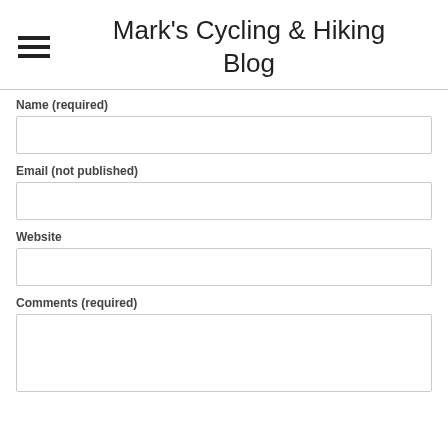Mark's Cycling & Hiking Blog
Name (required)
Email (not published)
Website
Comments (required)